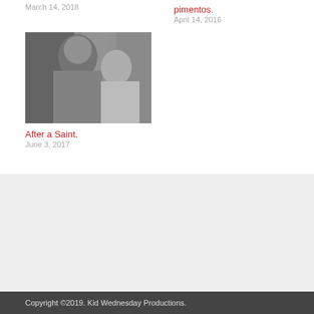March 14, 2018
pimentos.
April 14, 2016
[Figure (photo): Black and white photograph of people, appears to show someone getting their hair done or similar close-up activity]
After a Saint.
June 3, 2017
The Cow Jumped Over What?
Just Another Thread.
Copyright ©2019. Kid Wednesday Productions.